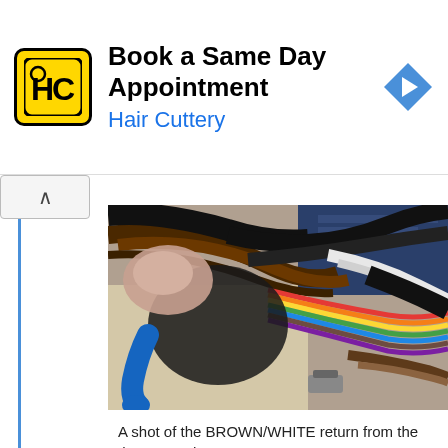[Figure (other): Hair Cuttery advertisement banner: yellow square logo with HC letters, title 'Book a Same Day Appointment', subtitle 'Hair Cuttery' in blue, blue navigation arrow icon on right]
[Figure (photo): Close-up photo of a vehicle wiring harness showing multiple colored wires including rainbow-colored ribbon wires, brown/white wires, and a blue connector, shot under a dashboard]
A shot of the BROWN/WHITE return from the thermostat heater.
[Figure (photo): Second close-up photo of vehicle wiring showing multiple colored wires including red, green, brown, orange, and blue wires in a wiring harness area]